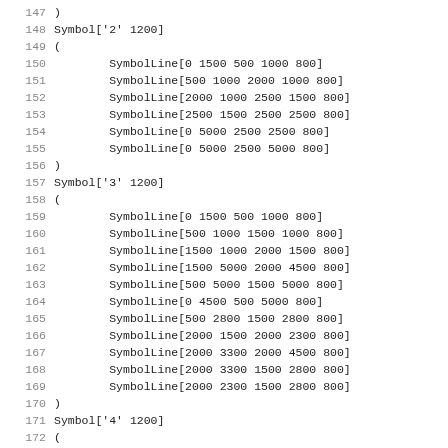147 )
148 Symbol['2' 1200]
149 (
150         SymbolLine[0 1500 500 1000 800]
151         SymbolLine[500 1000 2000 1000 800]
152         SymbolLine[2000 1000 2500 1500 800]
153         SymbolLine[2500 1500 2500 2500 800]
154         SymbolLine[0 5000 2500 2500 800]
155         SymbolLine[0 5000 2500 5000 800]
156 )
157 Symbol['3' 1200]
158 (
159         SymbolLine[0 1500 500 1000 800]
160         SymbolLine[500 1000 1500 1000 800]
161         SymbolLine[1500 1000 2000 1500 800]
162         SymbolLine[1500 5000 2000 4500 800]
163         SymbolLine[500 5000 1500 5000 800]
164         SymbolLine[0 4500 500 5000 800]
165         SymbolLine[500 2800 1500 2800 800]
166         SymbolLine[2000 1500 2000 2300 800]
167         SymbolLine[2000 3300 2000 4500 800]
168         SymbolLine[2000 3300 1500 2800 800]
169         SymbolLine[2000 2300 1500 2800 800]
170 )
171 Symbol['4' 1200]
172 (
173         SymbolLine[0 3500 2000 1000 800]
174         SymbolLine[0 3500 2500 3500 800]
175         SymbolLine[2000 1000 2000 5000 800]
176 )
177 Symbol['5' 1200]
178 (
179         SymbolLine[0 1000 2000 1000 800]